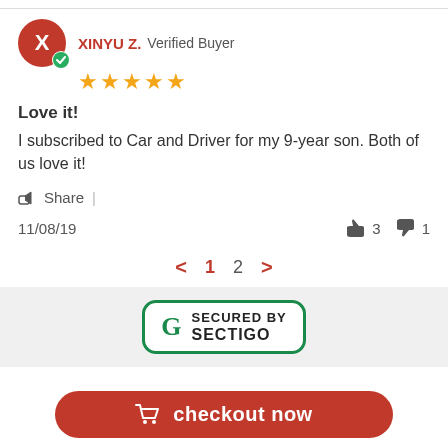XINYU Z. Verified Buyer ★★★★★
Love it!
I subscribed to Car and Driver for my 9-year son. Both of us love it!
Share |
11/08/19  👍 3  👎 1
< 1 2 >
[Figure (logo): Secured by Sectigo badge with green border and G logo]
checkout now